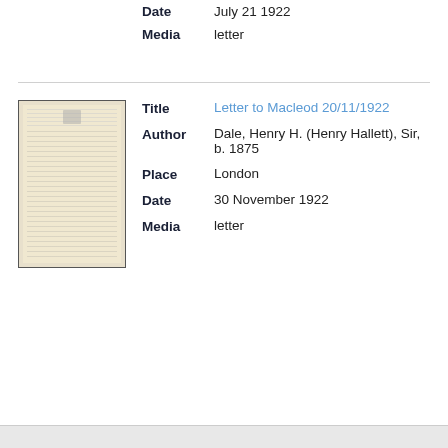Date    July 21 1922
Media    letter
[Figure (photo): Thumbnail of a historical letter on aged paper with official crest/letterhead at top]
Title    Letter to Macleod 20/11/1922
Author    Dale, Henry H. (Henry Hallett), Sir, b. 1875
Place    London
Date    30 November 1922
Media    letter